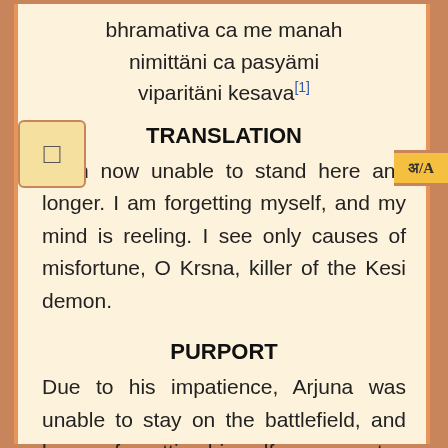bhramativa ca me manah nimittäni ca pasyämi viparitäni kesava[1]
TRANSLATION
I am now unable to stand here any longer. I am forgetting myself, and my mind is reeling. I see only causes of misfortune, O Krsna, killer of the Kesi demon.
PURPORT
Due to his impatience, Arjuna was unable to stay on the battlefield, and he was forgetting himself on account